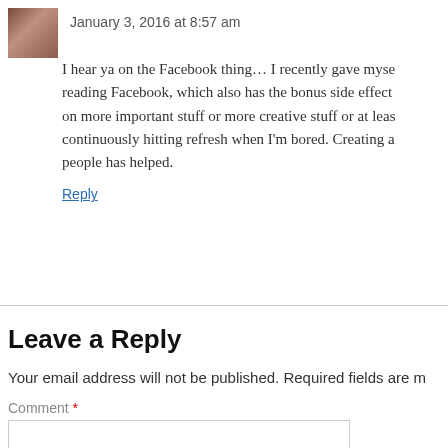January 3, 2016 at 8:57 am
I hear ya on the Facebook thing… I recently gave myse reading Facebook, which also has the bonus side effect on more important stuff or more creative stuff or at leas continuously hitting refresh when I'm bored. Creating a people has helped.
Reply
Leave a Reply
Your email address will not be published. Required fields are m
Comment *